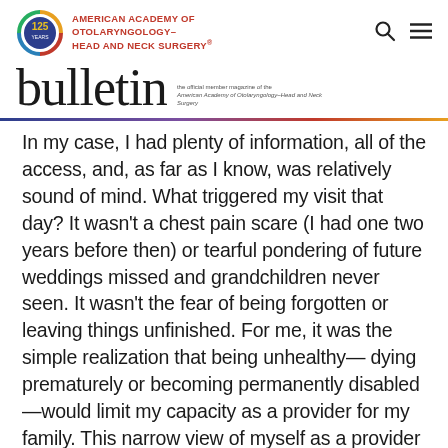AMERICAN ACADEMY OF OTOLARYNGOLOGY–HEAD AND NECK SURGERY®  bulletin  the official member magazine of the American Academy of Otolaryngology–Head and Neck Surgery
In my case, I had plenty of information, all of the access, and, as far as I know, was relatively sound of mind. What triggered my visit that day? It wasn't a chest pain scare (I had one two years before then) or tearful pondering of future weddings missed and grandchildren never seen. It wasn't the fear of being forgotten or leaving things unfinished. For me, it was the simple realization that being unhealthy— dying prematurely or becoming permanently disabled—would limit my capacity as a provider for my family. This narrow view of myself as a provider was what ultimately motivated me toward change.